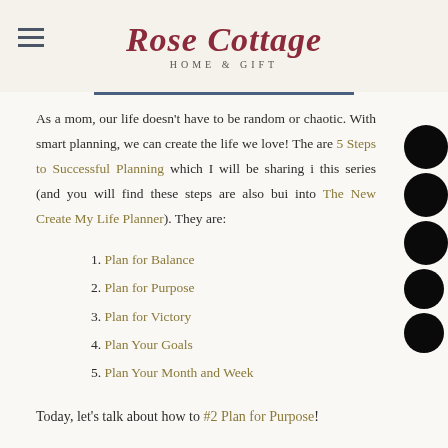Rose Cottage HOME & GIFT
As a mom, our life doesn't have to be random or chaotic. With smart planning, we can create the life we love! There are 5 Steps to Successful Planning which I will be sharing in this series (and you will find these steps are also built into The New Create My Life Planner). They are:
1. Plan for Balance
2. Plan for Purpose
3. Plan for Victory
4. Plan Your Goals
5. Plan Your Month and Week
Today, let's talk about how to #2 Plan for Purpose!